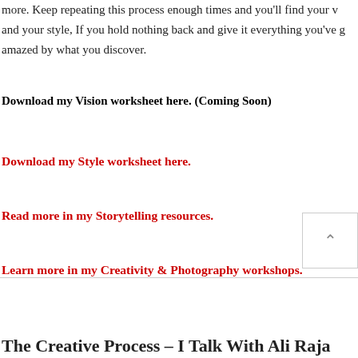more. Keep repeating this process enough times and you'll find your voice and your style, If you hold nothing back and give it everything you've got, you'll be amazed by what you discover.
Download my Vision worksheet here. (Coming Soon)
Download my Style worksheet here.
Read more in my Storytelling resources.
Learn more in my Creativity & Photography workshops.
The Creative Process – I Talk With Ali Raja